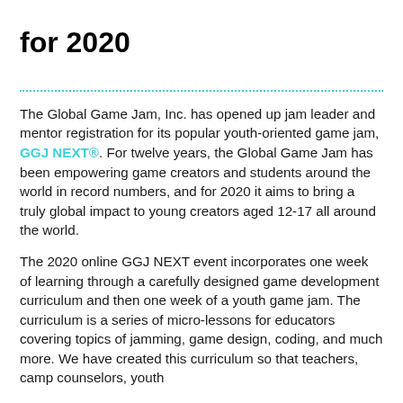for 2020
The Global Game Jam, Inc. has opened up jam leader and mentor registration for its popular youth-oriented game jam, GGJ NEXT®. For twelve years, the Global Game Jam has been empowering game creators and students around the world in record numbers, and for 2020 it aims to bring a truly global impact to young creators aged 12-17 all around the world.
The 2020 online GGJ NEXT event incorporates one week of learning through a carefully designed game development curriculum and then one week of a youth game jam. The curriculum is a series of micro-lessons for educators covering topics of jamming, game design, coding, and much more. We have created this curriculum so that teachers, camp counselors, youth